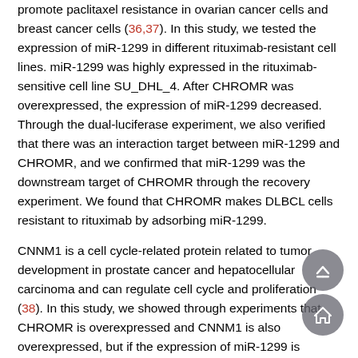promote paclitaxel resistance in ovarian cancer cells and breast cancer cells (36,37). In this study, we tested the expression of miR-1299 in different rituximab-resistant cell lines. miR-1299 was highly expressed in the rituximab-sensitive cell line SU_DHL_4. After CHROMR was overexpressed, the expression of miR-1299 decreased. Through the dual-luciferase experiment, we also verified that there was an interaction target between miR-1299 and CHROMR, and we confirmed that miR-1299 was the downstream target of CHROMR through the recovery experiment. We found that CHROMR makes DLBCL cells resistant to rituximab by adsorbing miR-1299.
CNNM1 is a cell cycle-related protein related to tumor development in prostate cancer and hepatocellular carcinoma and can regulate cell cycle and proliferation (38). In this study, we showed through experiments that CHROMR is overexpressed and CNNM1 is also overexpressed, but if the expression of miR-1299 is restored, the expression of CNNM1 will also be restored. Therefore, the result of this experiment is likely to constitute a